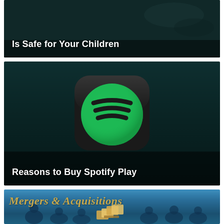[Figure (illustration): Dark teal/dark background image card with white bold text overlay reading 'Is Safe for Your Children' at bottom left]
[Figure (illustration): Dark background card showing a 3D Spotify app icon (green circle with three curved lines on rounded black square), with white bold text overlay 'Reasons to Buy Spotify Play' at bottom left]
[Figure (illustration): Blue background card showing 'Mergers & Acquisitions' in gold italic serif text, with silhouette figures of people and stacked boxes/documents at the bottom]